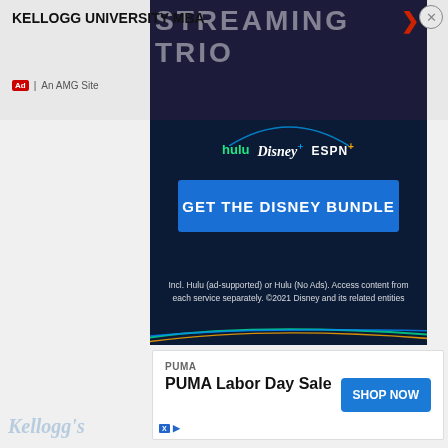[Figure (screenshot): Kellogg University MBA advertisement banner with 'STREAMING TRIO' background text and red arrow, on dark background]
Ad | An AMG Site
[Figure (screenshot): Disney Bundle advertisement: dark navy background with Hulu, Disney+, and ESPN+ logos, blue 'GET THE DISNEY BUNDLE' button, fine print about ad-supported Hulu access, and decorative colored swoosh lines at bottom]
[Figure (screenshot): PUMA Labor Day Sale advertisement with blue 'SHOP NOW' button on white card background]